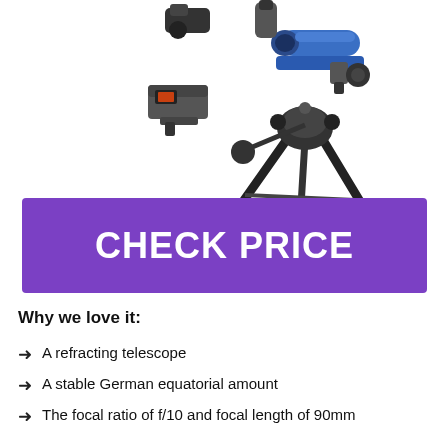[Figure (photo): A blue refracting telescope on a black tripod with equatorial mount, along with accessories including eyepieces and a red dot finder scope, displayed on a white background.]
CHECK PRICE
Why we love it:
A refracting telescope
A stable German equatorial amount
The focal ratio of f/10 and focal length of 90mm